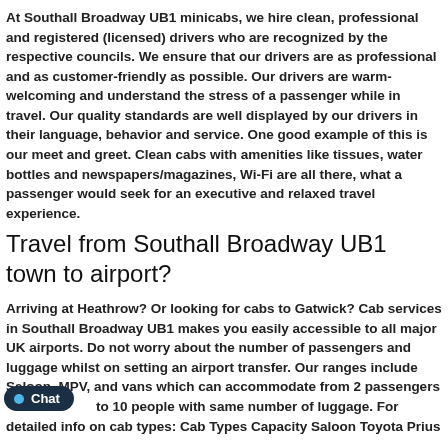At Southall Broadway UB1 minicabs, we hire clean, professional and registered (licensed) drivers who are recognized by the respective councils. We ensure that our drivers are as professional and as customer-friendly as possible. Our drivers are warm-welcoming and understand the stress of a passenger while in travel. Our quality standards are well displayed by our drivers in their language, behavior and service. One good example of this is our meet and greet. Clean cabs with amenities like tissues, water bottles and newspapers/magazines, Wi-Fi are all there, what a passenger would seek for an executive and relaxed travel experience.
Travel from Southall Broadway UB1 town to airport?
Arriving at Heathrow? Or looking for cabs to Gatwick? Cab services in Southall Broadway UB1 makes you easily accessible to all major UK airports. Do not worry about the number of passengers and luggage whilst on setting an airport transfer. Our ranges include Saloon, MPV, and vans which can accommodate from 2 passengers to 10 people with same number of luggage. For detailed info on cab types: Cab Types Capacity Saloon Toyota Prius...